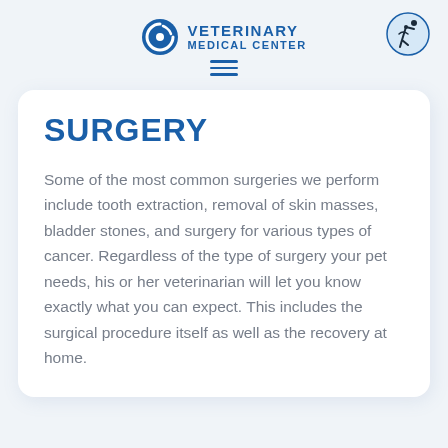VETERINARY MEDICAL CENTER
SURGERY
Some of the most common surgeries we perform include tooth extraction, removal of skin masses, bladder stones, and surgery for various types of cancer. Regardless of the type of surgery your pet needs, his or her veterinarian will let you know exactly what you can expect. This includes the surgical procedure itself as well as the recovery at home.